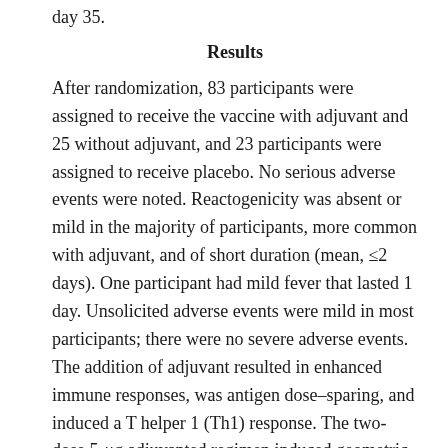day 35.
Results
After randomization, 83 participants were assigned to receive the vaccine with adjuvant and 25 without adjuvant, and 23 participants were assigned to receive placebo. No serious adverse events were noted. Reactogenicity was absent or mild in the majority of participants, more common with adjuvant, and of short duration (mean, ≤2 days). One participant had mild fever that lasted 1 day. Unsolicited adverse events were mild in most participants; there were no severe adverse events. The addition of adjuvant resulted in enhanced immune responses, was antigen dose–sparing, and induced a T helper 1 (Th1) response. The two-dose 5-μg adjuvanted regimen induced geometric mean anti-spike IgG (63,160